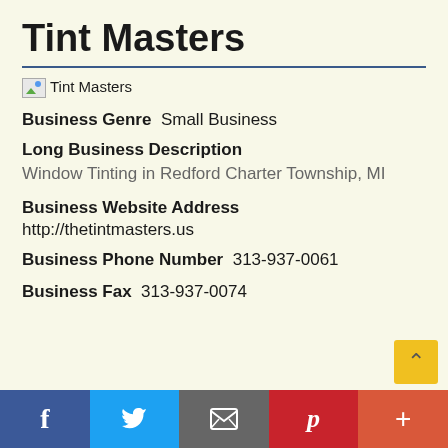Tint Masters
[Figure (logo): Tint Masters logo image placeholder]
Business Genre  Small Business
Long Business Description
Window Tinting in Redford Charter Township, MI
Business Website Address
http://thetintmasters.us
Business Phone Number  313-937-0061
Business Fax  313-937-0074
f  [Twitter]  [Email]  p  +